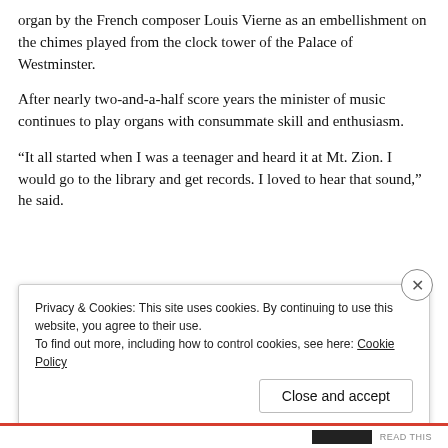organ by the French composer Louis Vierne as an embellishment on the chimes played from the clock tower of the Palace of Westminster.
After nearly two-and-a-half score years the minister of music continues to play organs with consummate skill and enthusiasm.
“It all started when I was a teenager and heard it at Mt. Zion. I would go to the library and get records. I loved to hear that sound,” he said.
Privacy & Cookies: This site uses cookies. By continuing to use this website, you agree to their use.
To find out more, including how to control cookies, see here: Cookie Policy
Close and accept